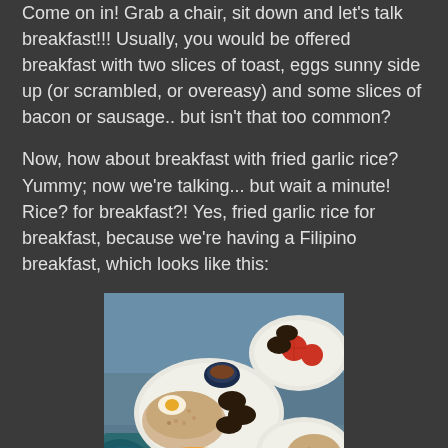Come on in! Grab a chair, sit down and let's talk breakfast!!! Usually, you would be offered breakfast with two slices of toast, eggs sunny side up (or scrambled, or overeasy) and some slices of bacon or sausage.. but isn't that too common?
Now, how about breakfast with fried garlic rice? Yummy; now we're talking... but wait a minute! Rice? for breakfast?! Yes, fried garlic rice for breakfast, because we're having a Filipino breakfast, which looks like this:
[Figure (photo): A Filipino breakfast spread showing plates of fried garlic rice, dark meat (longganisa or similar), a fried egg, sliced tomatoes, a small bowl of dipping sauce, and a glass of orange juice on a checkered tablecloth.]